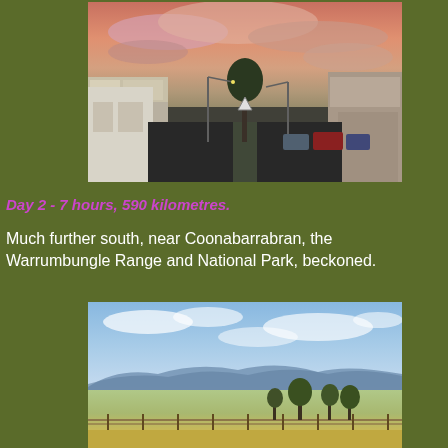[Figure (photo): Street scene at sunset in an Australian town, showing a main street with shops on both sides, parked cars, street lights, and a dramatic pink and purple cloudy sky]
Day 2 - 7 hours, 590 kilometres.
Much further south, near Coonabarrabran, the Warrumbungle Range and National Park, beckoned.
[Figure (photo): Landscape photo showing the Warrumbungle Range with blue mountains in the background, scattered trees in the middle ground, and dry grassland with a fence in the foreground under a partly cloudy blue sky]